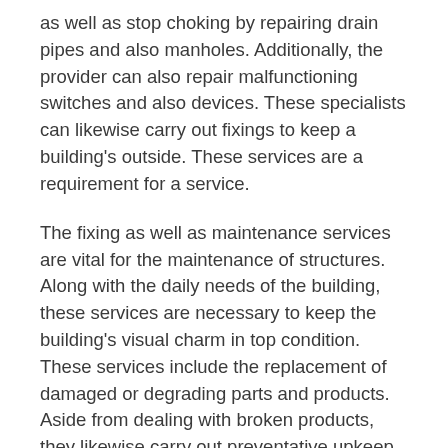as well as stop choking by repairing drain pipes and also manholes. Additionally, the provider can also repair malfunctioning switches and also devices. These specialists can likewise carry out fixings to keep a building's outside. These services are a requirement for a service.
The fixing as well as maintenance services are vital for the maintenance of structures. Along with the daily needs of the building, these services are necessary to keep the building's visual charm in top condition. These services include the replacement of damaged or degrading parts and products. Aside from dealing with broken products, they likewise carry out preventative upkeep on your property. If you need an emergency situation repair work, you can call these specialists for assistance.
Whether you require a structure to be useful or appealing, constructing upkeep is vital. Whether you